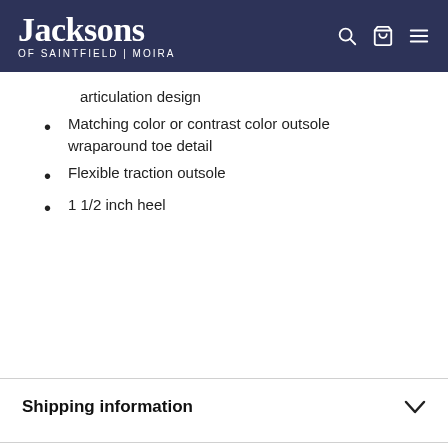Jacksons OF SAINTFIELD | MOIRA
articulation design
Matching color or contrast color outsole wraparound toe detail
Flexible traction outsole
1 1/2 inch heel
Shipping information
About Us